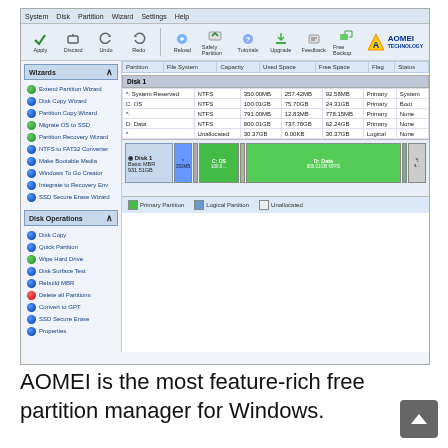[Figure (screenshot): Screenshot of AOMEI Partition Assistant software showing the main interface with Wizards panel on the left (Extend Partition Wizard, Disk Copy Wizard, Partition Copy Wizard, Migrate OS to SSD, Partition Recovery Wizard, NTFS to FAT32 Converter, Make Bootable Media, Windows To Go Creator, Integrate to Recovery Env, SSD Secure Erase Wizard), Disk Operations panel below it (Disk Copy, Quick Partition, Wipe Hard Drive, Disk Surface Test, Rebuild MBR, Delete all Partitions, Convert to GPT, SSD Secure Erase, Properties), and the main right pane showing a partition table for Disk 1 with partitions: System Reserved (NTFS, 350.00MB, 257.42MB, 92.58MB, Primary, System), C: OS (NTFS, 100.01GB, 75.70GB, 24.31GB, Primary, Boot), * (NTFS, 791.00MB, 12.83MB, 778.15MB, Primary, None), D: Data (NTFS, 800.01GB, 737.78GB, 62.24GB, Primary, None), * (Unallocated, 30.37GB, 0.00KB, 30.37GB, Logical, None). Below the table is a graphical disk map. Legend shows Primary Partition, Logical Partition, Unallocated.]
AOMEI is the most feature-rich free partition manager for Windows.